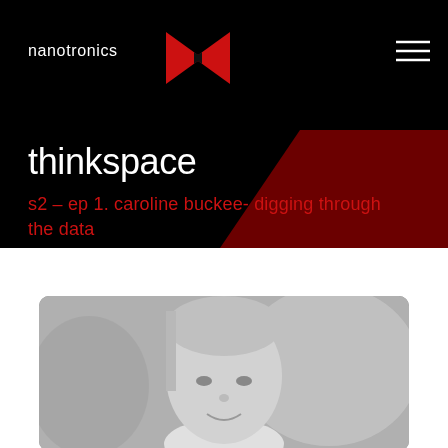nanotronics
thinkspace
s2 – ep 1. caroline buckee- digging through the data
[Figure (photo): Black and white portrait photo of a young woman smiling, with hair pulled back, photographed in soft focus.]